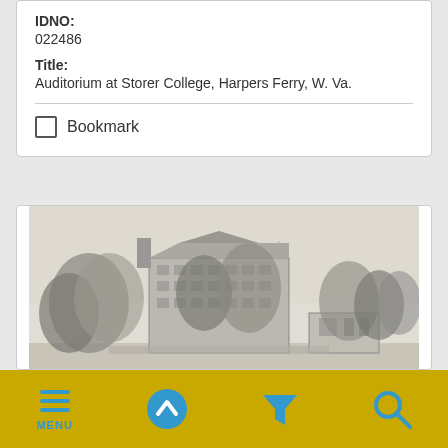IDNO: 022486
Title: Auditorium at Storer College, Harpers Ferry, W. Va.
Bookmark
[Figure (photo): Black and white photograph/drawing of a large multi-story building (auditorium at Storer College) surrounded by trees, with a smaller structure visible to the right.]
MENU (navigation bar with menu, up, filter, and search icons)